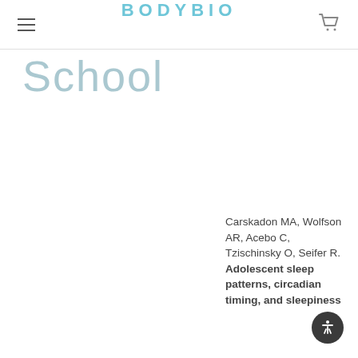BODYBIO
School
Carskadon MA, Wolfson AR, Acebo C, Tzischinsky O, Seifer R. Adolescent sleep patterns, circadian timing, and sleepiness